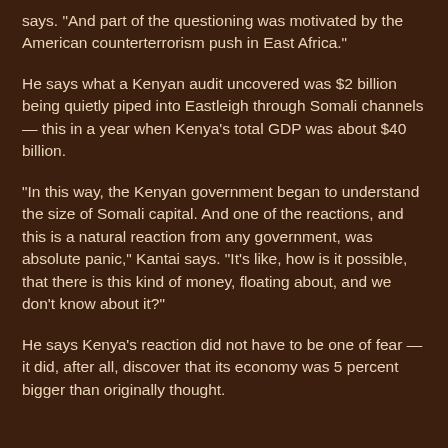says. "And part of the questioning was motivated by the American counterterrorism push in East Africa."
He says what a Kenyan audit uncovered was $2 billion being quietly piped into Eastleigh through Somali channels — this in a year when Kenya's total GDP was about $40 billion.
"In this way, the Kenyan government began to understand the size of Somali capital. And one of the reactions, and this is a natural reaction from any government, was absolute panic," Kantai says. "It's like, how is it possible, that there is this kind of money, floating about, and we don't know about it?"
He says Kenya's reaction did not have to be one of fear — it did, after all, discover that its economy was 5 percent bigger than originally thought.